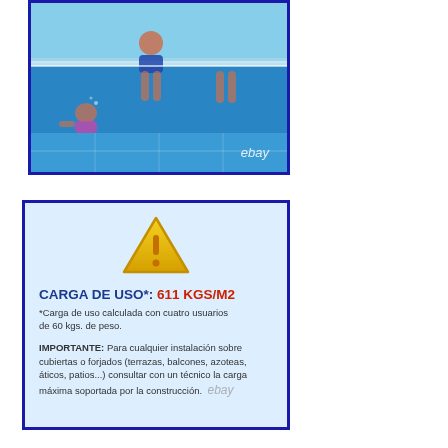[Figure (photo): Photo of people swimming in a pool, split view above and below water surface. Blue pool tiles visible, ebay watermark in corner.]
[Figure (infographic): Warning box with blue border and light blue background. Contains yellow warning triangle icon, load capacity text 'CARGA DE USO*: 611 KGS/M2' and safety note about installation on rooftops and terraces.]